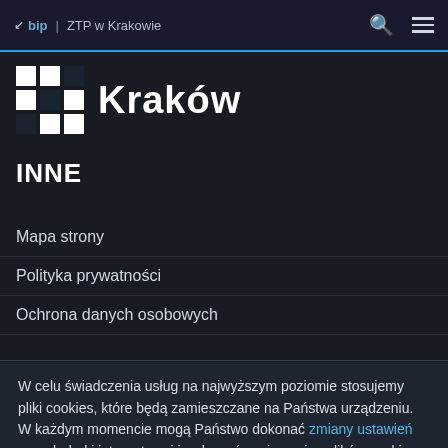bip | ZTP w Krakowie
[Figure (logo): Kraków city logo with grid icon and text Kraków]
INNE
Mapa strony
Polityka prywatności
Ochrona danych osobowych
W celu świadczenia usług na najwyższym poziomie stosujemy pliki cookies, które będą zamieszczane na Państwa urządzeniu. W każdym momencie mogą Państwo dokonać zmiany ustawień przeglądarki internetowej i wyłączyć opcję zapisu plików cookies. Więcej informacji
Akceptuję